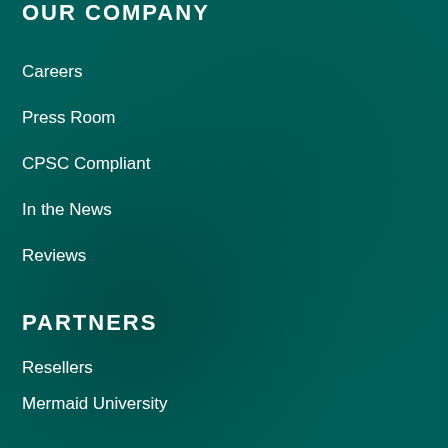OUR COMPANY
Careers
Press Room
CPSC Compliant
In the News
Reviews
PARTNERS
Resellers
Mermaid University
Mermaid Class Locator
Mermaid Ambassadors & MerCouncil